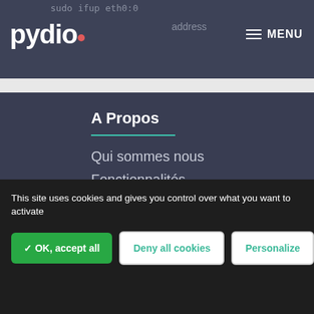sudo ifup eth0:0 address — MENU
A Propos
Qui sommes nous
Fonctionnalités
Tarifs
Presse
Demo
This site uses cookies and gives you control over what you want to activate
✓ OK, accept all   Deny all cookies   Personalize